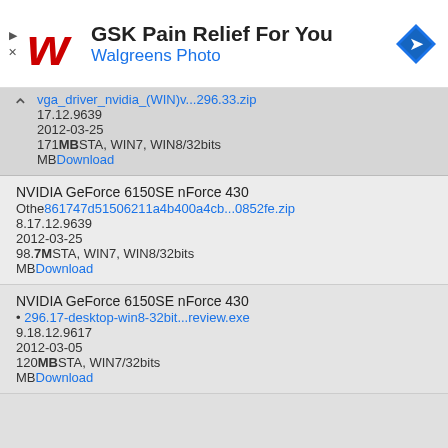[Figure (screenshot): Advertisement banner for GSK Pain Relief For You featuring Walgreens Photo logo and navigation icon]
vga_driver_nvidia_(WIN)v...296.33.zip
17.12.9639
2012-03-25
171MB VISTA, WIN7, WIN8/32bits
MB Download
NVIDIA GeForce 6150SE nForce 430
Other 661747d51506211a4b400a4cb...0852fe.zip
8.17.12.9639
2012-03-25
98.7MB VISTA, WIN7, WIN8/32bits
MB Download
NVIDIA GeForce 6150SE nForce 430
296.17-desktop-win8-32bit...review.exe
9.18.12.9617
2012-03-05
120MB VISTA, WIN7/32bits
MB Download